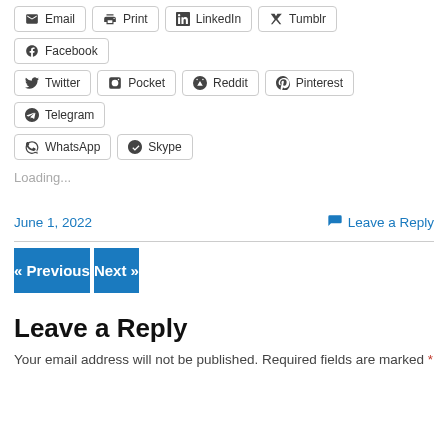Email
Print
LinkedIn
Tumblr
Facebook
Twitter
Pocket
Reddit
Pinterest
Telegram
WhatsApp
Skype
Loading...
June 1, 2022
Leave a Reply
« Previous
Next »
Leave a Reply
Your email address will not be published. Required fields are marked *